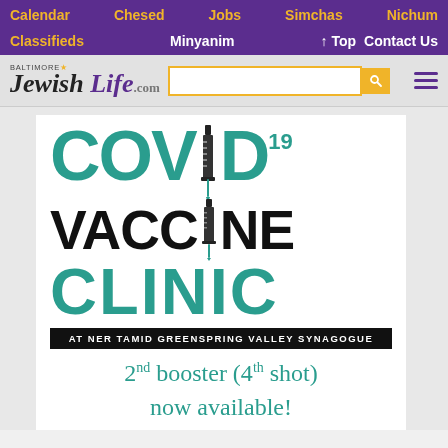Calendar  Chesed  Jobs  Simchas  Nichum
Classifieds  Minyanim  ↑ Top  Contact Us
[Figure (logo): Baltimore Jewish Life .com logo with search bar and hamburger menu]
[Figure (infographic): COVID-19 Vaccine Clinic at Ner Tamid Greenspring Valley Synagogue. 2nd booster (4th shot) now available!]